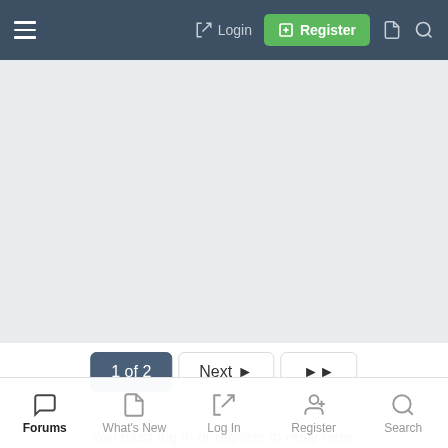≡  → Login  ⊞ Register  🗎  🔍
[Figure (other): Light gray advertisement placeholder area]
1 of 2  Next ▶  ▶▶
You must log in or register to reply here.
··· Most reactions
[Figure (photo): Row of user avatar thumbnails with rounded corners]
Forums  What's New  Log In  Register  Search